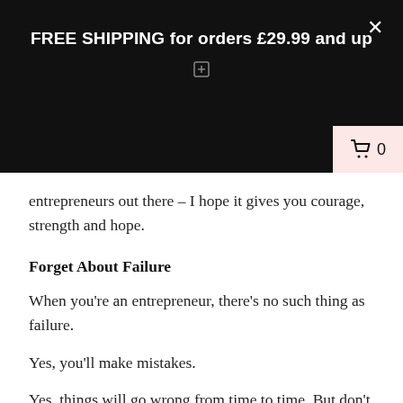FREE SHIPPING for orders £29.99 and up
entrepreneurs out there – I hope it gives you courage, strength and hope.
Forget About Failure
When you're an entrepreneur, there's no such thing as failure.
Yes, you'll make mistakes.
Yes, things will go wrong from time to time. But don't view them as a failure.
Instead, see them as an opportunity to try again and put things right this time.